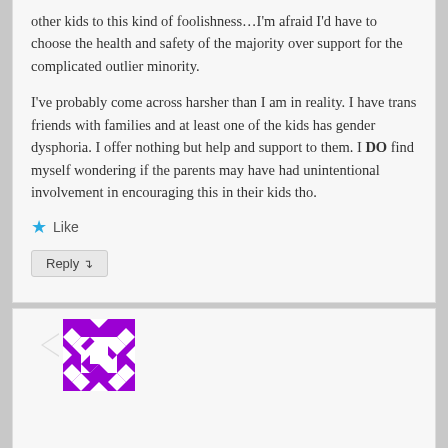other kids to this kind of foolishness…I'm afraid I'd have to choose the health and safety of the majority over support for the complicated outlier minority.
I've probably come across harsher than I am in reality. I have trans friends with families and at least one of the kids has gender dysphoria. I offer nothing but help and support to them. I DO find myself wondering if the parents may have had unintentional involvement in encouraging this in their kids tho.
Like
Reply ↓
[Figure (illustration): Purple and white geometric quilt-pattern avatar icon]